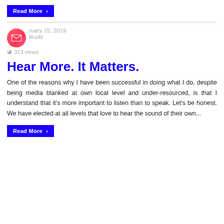Read More ›
February 15, 2019
AndyRudd
313 views
Hear More. It Matters.
One of the reasons why I have been successful in doing what I do, despite being media blanked at own local level and under-resourced, is that I understand that it's more important to listen than to speak. Let's be honest. We have elected at all levels that love to hear the sound of their own...
Read More ›